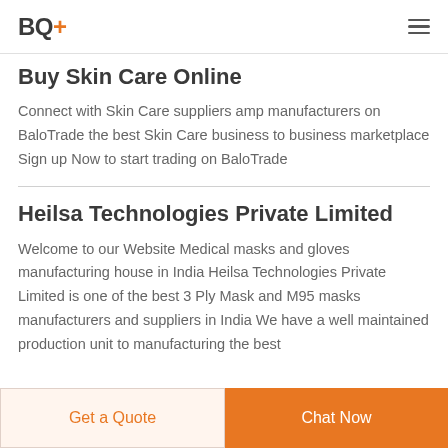BQ+
Buy Skin Care Online
Connect with Skin Care suppliers amp manufacturers on BaloTrade the best Skin Care business to business marketplace Sign up Now to start trading on BaloTrade
Heilsa Technologies Private Limited
Welcome to our Website Medical masks and gloves manufacturing house in India Heilsa Technologies Private Limited is one of the best 3 Ply Mask and M95 masks manufacturers and suppliers in India We have a well maintained production unit to manufacturing the best
Get a Quote | Chat Now